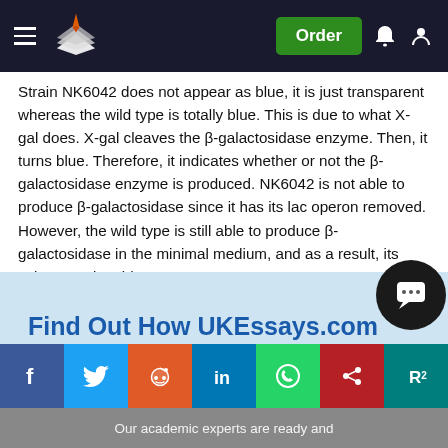UKEssays.com - Order
Strain NK6042 does not appear as blue, it is just transparent whereas the wild type is totally blue. This is due to what X-gal does. X-gal cleaves the β-galactosidase enzyme. Then, it turns blue. Therefore, it indicates whether or not the β-galactosidase enzyme is produced. NK6042 is not able to produce β-galactosidase since it has its lac operon removed. However, the wild type is still able to produce β-galactosidase in the minimal medium, and as a result, its color turns into blue.
Find Out How UKEssays.com Can Help You!
Our academic experts are ready and...